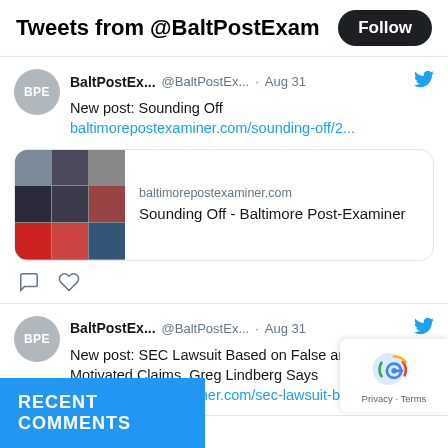Tweets from @BaltPostExam
BaltPostEx... @BaltPostEx... · Aug 31
New post: Sounding Off
baltimorepostexaminer.com/sounding-off/2...
[Figure (screenshot): Preview card for baltimorepostexaminer.com - Sounding Off - Baltimore Post-Examiner with a photo grid thumbnail]
BaltPostEx... @BaltPostEx... · Aug 31
New post: SEC Lawsuit Based on False and Politically-Motivated Claims, Greg Lindberg Says  baltimorepostexaminer.com/sec-lawsuit-ba...
RECENT COMMENTS